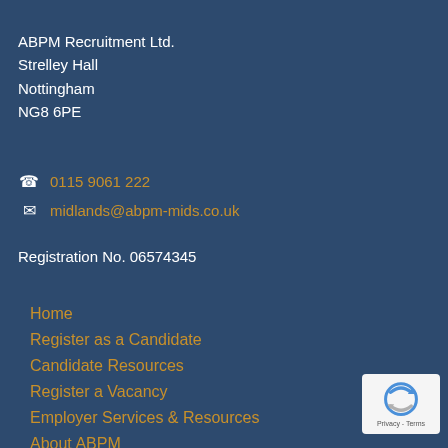ABPM Recruitment Ltd.
Strelley Hall
Nottingham
NG8 6PE
☎ 0115 9061 222
✉ midlands@abpm-mids.co.uk
Registration No. 06574345
Home
Register as a Candidate
Candidate Resources
Register a Vacancy
Employer Services & Resources
About ABPM
[Figure (other): reCAPTCHA badge with circular arrow logo and Privacy - Terms text]